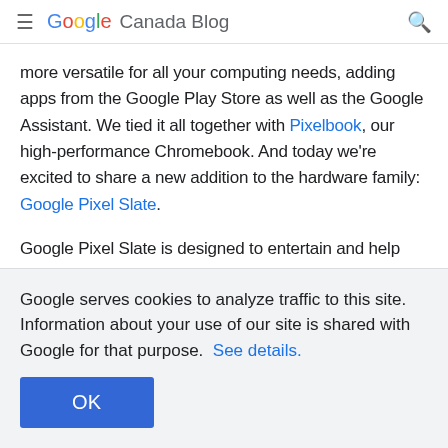Google Canada Blog
more versatile for all your computing needs, adding apps from the Google Play Store as well as the Google Assistant. We tied it all together with Pixelbook, our high-performance Chromebook. And today we're excited to share a new addition to the hardware family: Google Pixel Slate.
Google Pixel Slate is designed to entertain and help you do more in a fresh, mobile form. We combined a touch-first user interface, optimized Android apps and powerful desktop-style features in
Google serves cookies to analyze traffic to this site. Information about your use of our site is shared with Google for that purpose.  See details.
OK